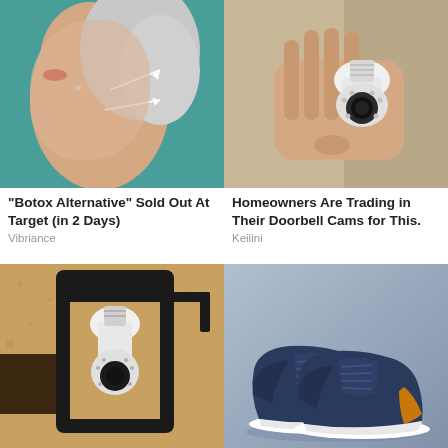[Figure (photo): Close-up of an older woman's neck/face profile on teal background with white arrow annotations]
"Botox Alternative" Sold Out At Target (in 2 Days)
Vibriance
[Figure (photo): Hand holding a white light-bulb shaped security camera]
Homeowners Are Trading in Their Doorbell Cams for This.
Keilini
[Figure (photo): Outdoor wall lamp fixture with a white bulb security camera installed inside it]
[Figure (photo): Pair of dark navy blue sneakers with tan/orange accents on a grey-blue background]